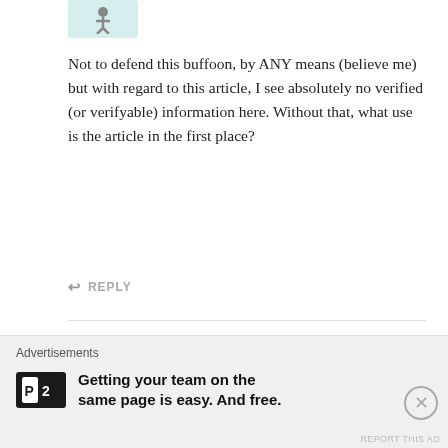[Figure (illustration): Small avatar icon with person figure on teal/mint background]
Not to defend this buffoon, by ANY means (believe me) but with regard to this article, I see absolutely no verified (or verifyable) information here. Without that, what use is the article in the first place?
↩ REPLY
[Figure (illustration): Cartoon monster avatar - brown blob creature with one eye, bow tie, and spiky hair on light blue background]
Lynn malmberg says:
OCTOBER 8, 2019 AT 6:10 PM
Why did he get an injunction against the globe if there is no fire with the smoke.
↩ REPLY
Advertisements
[Figure (logo): P2 logo - white P2 text on black rectangle background]
Getting your team on the same page is easy. And free.